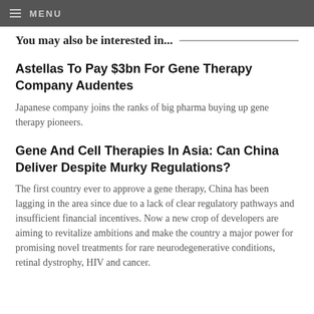MENU
You may also be interested in...
Astellas To Pay $3bn For Gene Therapy Company Audentes
Japanese company joins the ranks of big pharma buying up gene therapy pioneers.
Gene And Cell Therapies In Asia: Can China Deliver Despite Murky Regulations?
The first country ever to approve a gene therapy, China has been lagging in the area since due to a lack of clear regulatory pathways and insufficient financial incentives. Now a new crop of developers are aiming to revitalize ambitions and make the country a major power for promising novel treatments for rare neurodegenerative conditions, retinal dystrophy, HIV and cancer.